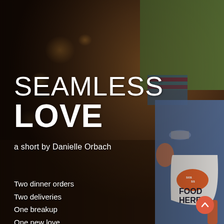[Figure (photo): A person's lower body in ripped blue jeans and a green jacket, holding a white Seamless delivery bag with 'FOOD HERE' text and the Seamless logo, standing on a sidewalk with blurred bokeh background.]
SEAMLESS LOVE
a short by Danielle Orbach
Two dinner orders
Two deliveries
One breakup
One new love